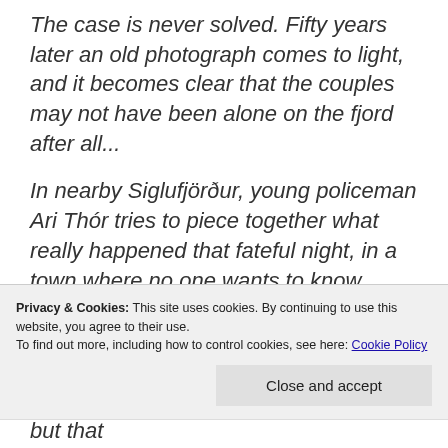The case is never solved. Fifty years later an old photograph comes to light, and it becomes clear that the couples may not have been alone on the fjord after all...
In nearby Siglufjörður, young policeman Ari Thór tries to piece together what really happened that fateful night, in a town where no one wants to know, where secrets are a way of life. He's assisted by Ísrún, a news reporter in Reykjavik,
Privacy & Cookies: This site uses cookies. By continuing to use this website, you agree to their use.
To find out more, including how to control cookies, see here: Cookie Policy
Close and accept